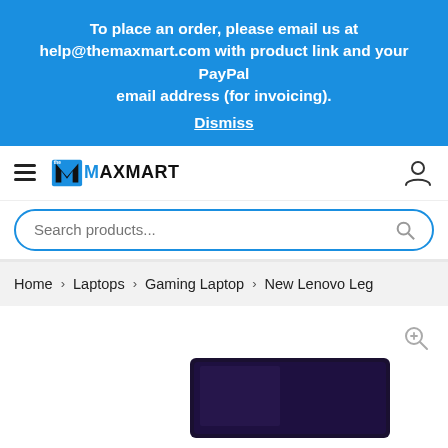To place an order, please email us at help@themaxmart.com with product link and your PayPal email address (for invoicing).
Dismiss
[Figure (logo): The MaxMart logo with stylized M icon and MAXMART text]
Search products...
Home > Laptops > Gaming Laptop > New Lenovo Leg
[Figure (photo): Partial image of a gaming laptop (Lenovo Legion) with dark lid visible at bottom of page]